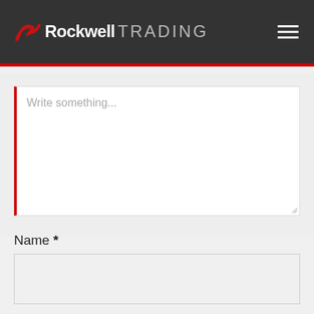Rockwell TRADING
[Figure (screenshot): Comment text area with red left border, placeholder text 'Write something...']
Name *
[Figure (screenshot): Name input field — empty text input box with light gray background]